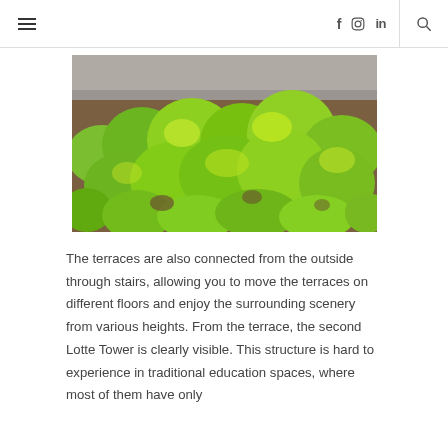≡  f  ☷  in  🔍
[Figure (photo): Close-up photograph of green leafy plants/shrubs viewed from above, with a grey concrete surface visible at the top. The plants are bright yellow-green and lush.]
The terraces are also connected from the outside through stairs, allowing you to move the terraces on different floors and enjoy the surrounding scenery from various heights. From the terrace, the second Lotte Tower is clearly visible. This structure is hard to experience in traditional education spaces, where most of them have only